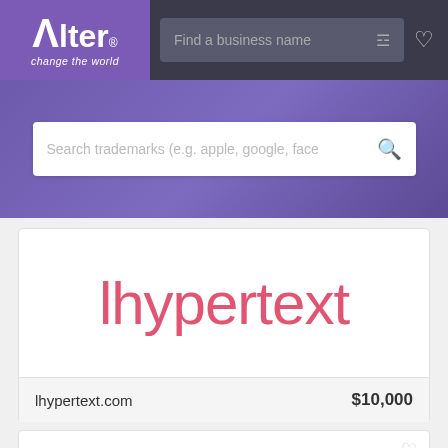[Figure (screenshot): Alter brand logo with purple background showing 'Alter' text and tagline 'change the world']
Find a business name
Search trademarks (e.g. apple, google, face
lhypertext
lhypertext.com
$10,000
[Figure (logo): Red circular logo with a stylized pen/marker icon pointing downward]